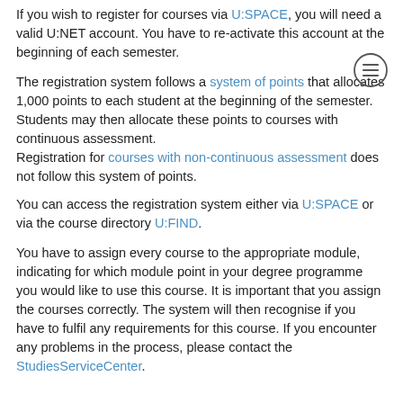If you wish to register for courses via U:SPACE, you will need a valid U:NET account. You have to re-activate this account at the beginning of each semester.
The registration system follows a system of points that allocates 1,000 points to each student at the beginning of the semester. Students may then allocate these points to courses with continuous assessment. Registration for courses with non-continuous assessment does not follow this system of points.
You can access the registration system either via U:SPACE or via the course directory U:FIND.
You have to assign every course to the appropriate module, indicating for which module point in your degree programme you would like to use this course. It is important that you assign the courses correctly. The system will then recognise if you have to fulfil any requirements for this course. If you encounter any problems in the process, please contact the StudiesServiceCenter.